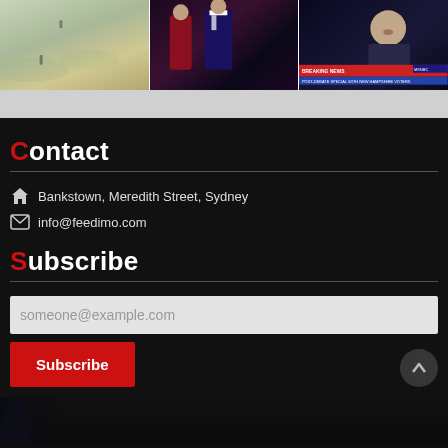[Figure (photo): Three images side by side: aerial/street view, people at formal event, news broadcast with Breaking News bar]
Contact
Bankstown, Meredith Street, Sydney
info@feedimo.com
Subscribe
someone@example.com (placeholder in input field)
Subscribe (button)
Tags